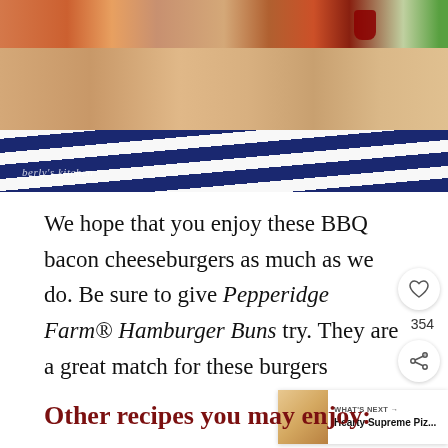[Figure (photo): Close-up food photo showing a BBQ bacon cheeseburger on a wooden cutting board with a blue and white striped cloth napkin beneath. Red sauce visible on the right side. Watermark reads 'berly's kitchen' in cursive.]
We hope that you enjoy these BBQ bacon cheeseburgers as much as we do. Be sure to give Pepperidge Farm® Hamburger Buns try. They are a great match for these burgers
Other recipes you may enjoy: